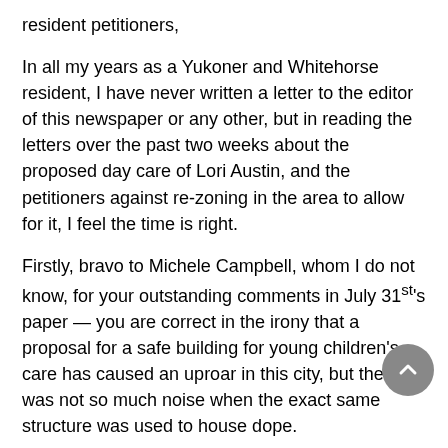resident petitioners,
In all my years as a Yukoner and Whitehorse resident, I have never written a letter to the editor of this newspaper or any other, but in reading the letters over the past two weeks about the proposed day care of Lori Austin, and the petitioners against re-zoning in the area to allow for it, I feel the time is right.
Firstly, bravo to Michele Campbell, whom I do not know, for your outstanding comments in July 31st's paper — you are correct in the irony that a proposal for a safe building for young children's care has caused an uproar in this city, but there was not so much noise when the exact same structure was used to house dope.
Secondly, to the city: As a mother of young children, having